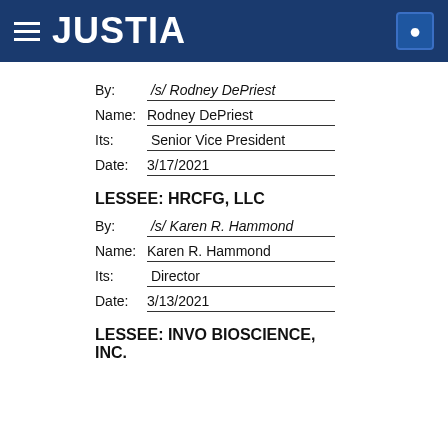JUSTIA
By: /s/ Rodney DePriest
Name: Rodney DePriest
Its: Senior Vice President
Date: 3/17/2021
LESSEE: HRCFG, LLC
By: /s/ Karen R. Hammond
Name: Karen R. Hammond
Its: Director
Date: 3/13/2021
LESSEE: INVO BIOSCIENCE, INC.